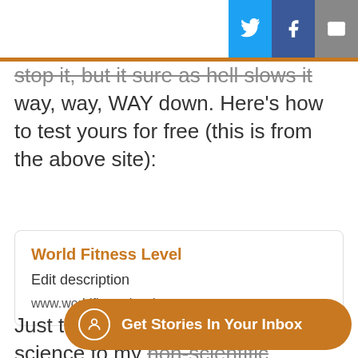[Figure (other): Social share buttons: Twitter (blue), Facebook (dark blue), Mail (gray) in top-right corner]
stop it, but it sure as hell slows it way, way, WAY down. Here's how to test yours for free (this is from the above site):
World Fitness Level
Edit description
www.worldfitnesslevel.or •
Just to make sure I add a little science to my non-scientific experiment h Times recently published this.
[Figure (other): Toast notification: orange pill-shaped button reading 'Get Stories In Your Inbox' with user icon]